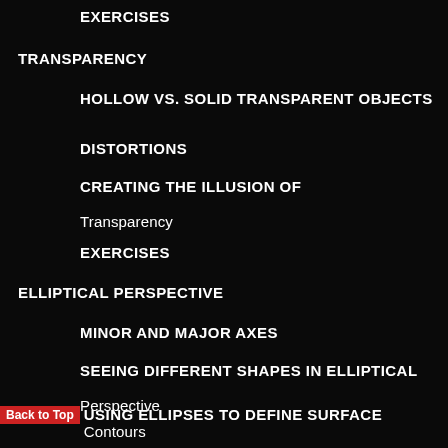EXERCISES
TRANSPARENCY
HOLLOW VS. SOLID TRANSPARENT OBJECTS
DISTORTIONS
CREATING THE ILLUSION OF Transparency
EXERCISES
ELLIPTICAL PERSPECTIVE
MINOR AND MAJOR AXES
SEEING DIFFERENT SHAPES IN ELLIPTICAL Perspective
USING ELLIPSES TO DEFINE SURFACE Contours
THE MAJOR AXIS AND SURFACE CONTOUR